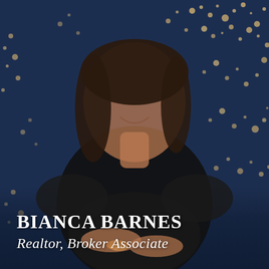[Figure (photo): Professional headshot of Bianca Barnes, a woman with shoulder-length dark brown hair, smiling, wearing a black V-neck top with arms crossed. The background is a dark navy blue with gold/cream paint splatter pattern.]
BIANCA BARNES
Realtor, Broker Associate